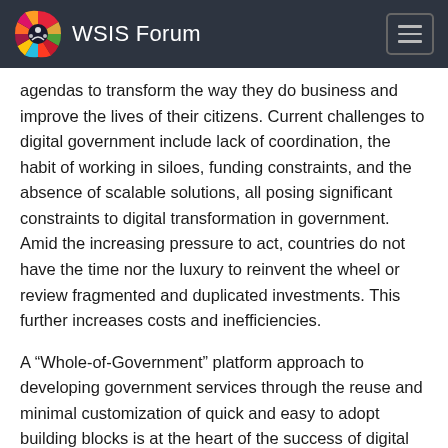WSIS Forum
agendas to transform the way they do business and improve the lives of their citizens. Current challenges to digital government include lack of coordination, the habit of working in siloes, funding constraints, and the absence of scalable solutions, all posing significant constraints to digital transformation in government. Amid the increasing pressure to act, countries do not have the time nor the luxury to reinvent the wheel or review fragmented and duplicated investments. This further increases costs and inefficiencies.
A “Whole-of-Government” platform approach to developing government services through the reuse and minimal customization of quick and easy to adopt building blocks is at the heart of the success of digital government services projects. Open-source models for a government platform that is built from modular and reusable components, leveraging a secure and standards-based approach, are an